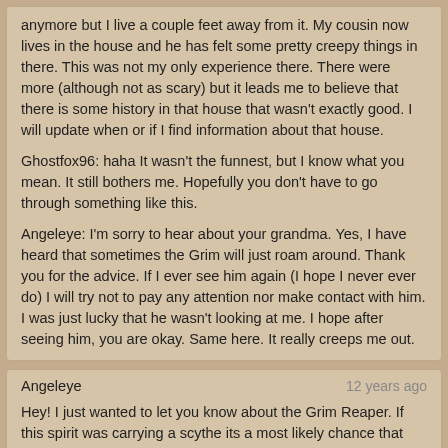anymore but I live a couple feet away from it. My cousin now lives in the house and he has felt some pretty creepy things in there. This was not my only experience there. There were more (although not as scary) but it leads me to believe that there is some history in that house that wasn't exactly good. I will update when or if I find information about that house.

Ghostfox96: haha It wasn't the funnest, but I know what you mean. It still bothers me. Hopefully you don't have to go through something like this.

Angeleye: I'm sorry to hear about your grandma. Yes, I have heard that sometimes the Grim will just roam around. Thank you for the advice. If I ever see him again (I hope I never ever do) I will try not to pay any attention nor make contact with him. I was just lucky that he wasn't looking at me. I hope after seeing him, you are okay. Same here. It really creeps me out.
Angeleye — 12 years ago

Hey! I just wanted to let you know about the Grim Reaper. If this spirit was carrying a scythe its a most likely chance that was the Grim. But it's very rare for him to appear, without taking away